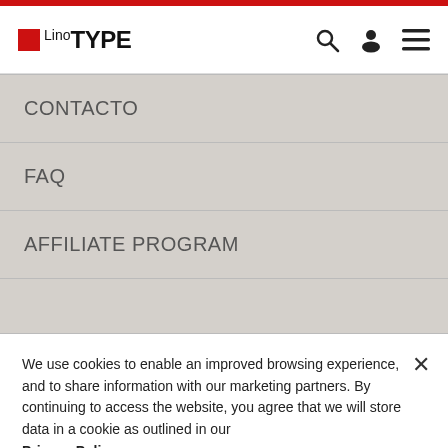Linotype
CONTACTO
FAQ
AFFILIATE PROGRAM
We use cookies to enable an improved browsing experience, and to share information with our marketing partners. By continuing to access the website, you agree that we will store data in a cookie as outlined in our Privacy Policy.
Cookies Settings
Accept Cookies